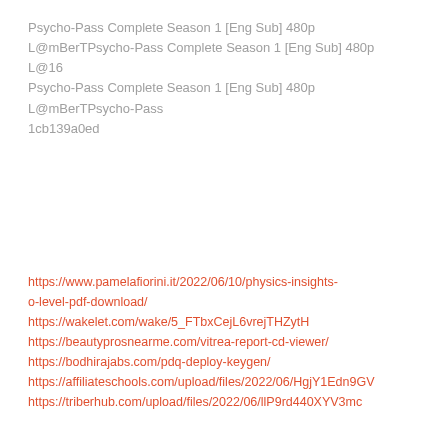Psycho-Pass Complete Season 1 [Eng Sub] 480p L@mBerTPsycho-Pass Complete Season 1 [Eng Sub] 480p L@16 Psycho-Pass Complete Season 1 [Eng Sub] 480p L@mBerTPsycho-Pass 1cb139a0ed
https://www.pamelafiorini.it/2022/06/10/physics-insights-o-level-pdf-download/
https://wakelet.com/wake/5_FTbxCejL6vrejTHZytH
https://beautyprosnearme.com/vitrea-report-cd-viewer/
https://bodhirajabs.com/pdq-deploy-keygen/
https://affiliateschools.com/upload/files/2022/06/HgjY1Edn9GV
https://triberhub.com/upload/files/2022/06/llP9rd440XYV3mc